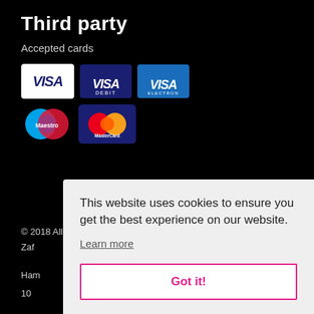Third party
Accepted cards
[Figure (logo): Payment card logos: Visa, Visa Debit, Visa Electron, Maestro, MasterCard]
© 2018 All rights reserved. Developed by Capen and powered by Zaf[...] b[...] Han[...] 10[...]
This website uses cookies to ensure you get the best experience on our website.
Learn more
Got it!